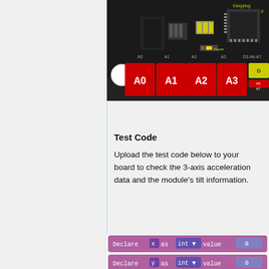[Figure (photo): Easyplug Control board V2.0 showing analog ports A0, A1, A2, A3 and D2-A6-A7 port connectors in red and yellow, black PCB with components]
Test Code
Upload the test code below to your board to check the 3-axis acceleration data and the module's tilt information.
[Figure (screenshot): Block code screenshot showing: Declare x as int value 0, Declare y as int value 0, Declare z as int value 0, x = Acceleration Module X-axis ac, y = Acceleration Module Y-axis ac, z = Acceleration Module Z-axis ac]